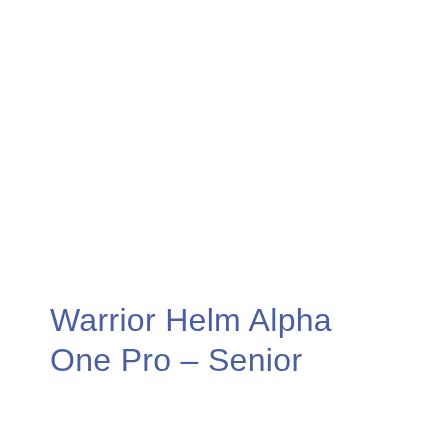Warrior Helm Alpha One Pro – Senior